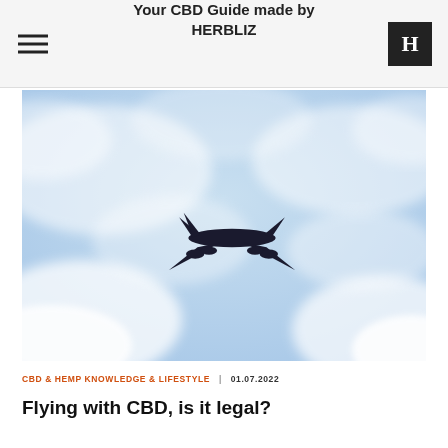Your CBD Guide made by HERBLIZ
[Figure (photo): Airplane silhouette viewed from below against a bright blue cloudy sky]
CBD & HEMP KNOWLEDGE & LIFESTYLE  |  01.07.2022
Flying with CBD, is it legal?